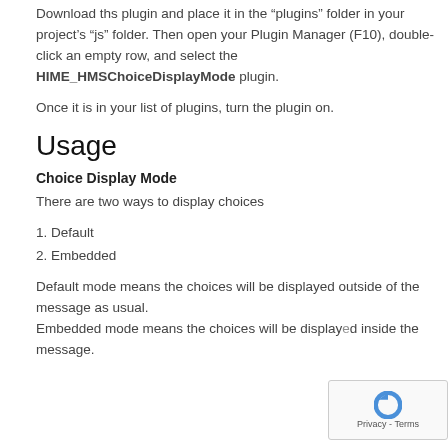Download ths plugin and place it in the “plugins” folder in your project’s “js” folder. Then open your Plugin Manager (F10), double-click an empty row, and select the HIME_HMSChoiceDisplayMode plugin.
Once it is in your list of plugins, turn the plugin on.
Usage
Choice Display Mode
There are two ways to display choices
1. Default
2. Embedded
Default mode means the choices will be displayed outside of the message as usual.
Embedded mode means the choices will be displayed inside the message.